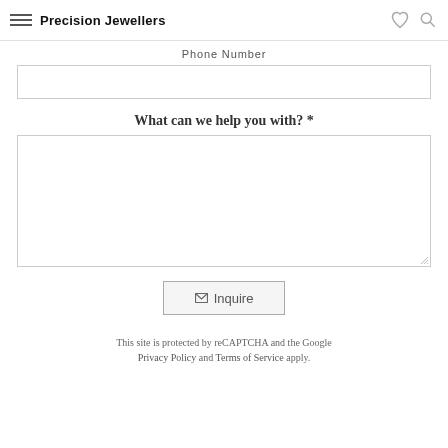Precision Jewellers
Phone Number
What can we help you with? *
Inquire
This site is protected by reCAPTCHA and the Google Privacy Policy and Terms of Service apply.